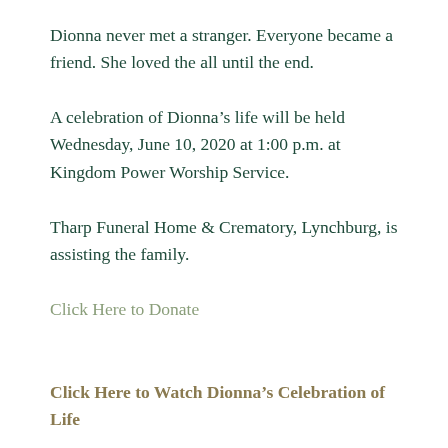Dionna never met a stranger. Everyone became a friend. She loved the all until the end.
A celebration of Dionna’s life will be held Wednesday, June 10, 2020 at 1:00 p.m. at Kingdom Power Worship Service.
Tharp Funeral Home & Crematory, Lynchburg, is assisting the family.
Click Here to Donate
Click Here to Watch Dionna’s Celebration of Life